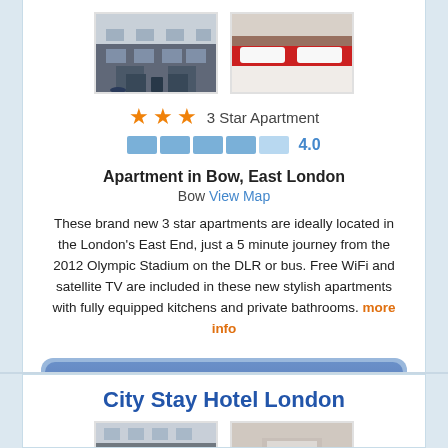[Figure (photo): Two photos: exterior of apartment building and interior bedroom with red and white bedding]
★★★ 3 Star Apartment
Rating: 4.0 out of 5
Apartment in Bow, East London
Bow View Map
These brand new 3 star apartments are ideally located in the London's East End, just a 5 minute journey from the 2012 Olympic Stadium on the DLR or bus. Free WiFi and satellite TV are included in these new stylish apartments with fully equipped kitchens and private bathrooms. more info
Book from $30.75 per person
City Stay Hotel London
[Figure (photo): Two photos of City Stay Hotel London: exterior building facade and interior room]